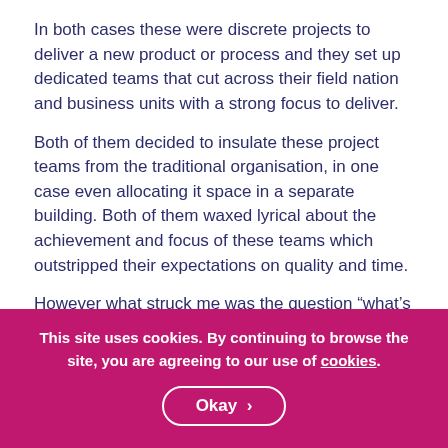In both cases these were discrete projects to deliver a new product or process and they set up dedicated teams that cut across their field nation and business units with a strong focus to deliver.
Both of them decided to insulate these project teams from the traditional organisation, in one case even allocating it space in a separate building. Both of them waxed lyrical about the achievement and focus of these teams which outstripped their expectations on quality and time.
However what struck me was the question “what’s wrong with our organisational structure and culture that the only way to be really successful is to insulate
This site uses cookies. By continuing to browse the site, you are agreeing to our use of cookies.